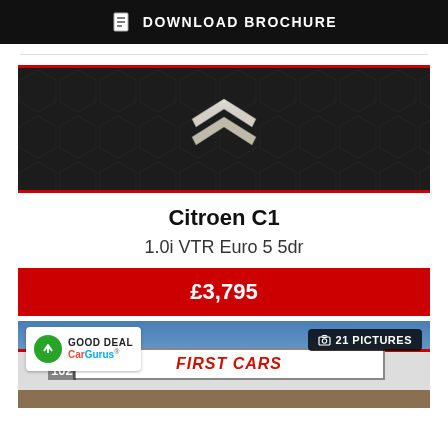[Figure (screenshot): Download brochure button bar with document icon, dark background]
Citroen C1
1.0i VTR Euro 5 5dr
£3,795
[Figure (photo): CarGurus Good Deal badge, dealer photo showing First Cars dealership with 21 Pictures badge]